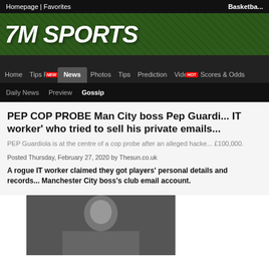Homepage | Favorites    Basketball
[Figure (logo): 7M SPORTS logo on green grass background]
Home  Tips Pro  News  Photos  Tips  Prediction  Videos  Scores & Odds
Daily News  Preview  Gossip
PEP COP PROBE Man City boss Pep Guardiola has reported the 'rogue IT worker' who tried to sell his private emails for £100,000
PEP Guardiola is at the centre of a cop probe after an alleged hacker tried to sell his private emails for £100,000.
Posted Thursday, February 27, 2020 by Thesun.co.uk
A rogue IT worker claimed they got players' personal details and records by hacking into the Manchester City boss's club email account.
[Figure (photo): Photo of Pep Guardiola]